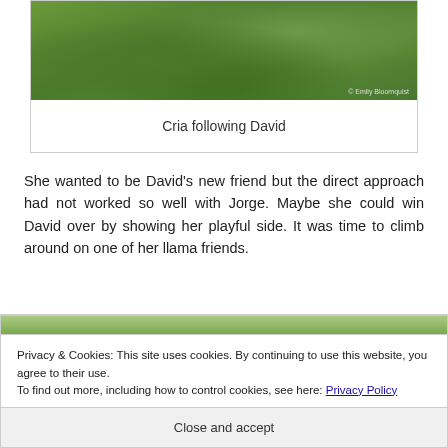[Figure (photo): Green grassy field/lawn with copyright notice '© Emily Bloomquist' in bottom right corner]
Cria following David
She wanted to be David's new friend but the direct approach had not worked so well with Jorge. Maybe she could win David over by showing her playful side. It was time to climb around on one of her llama friends.
Privacy & Cookies: This site uses cookies. By continuing to use this website, you agree to their use.
To find out more, including how to control cookies, see here: Privacy Policy
Close and accept
[Figure (photo): Partial view of outdoor scene, bottom of page]